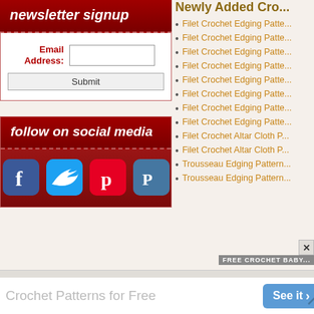newsletter signup
Email Address: [input] Submit
[Figure (infographic): follow on social media box with Facebook, Twitter, Pinterest, and Plurk icons]
Newly Added Cro...
Filet Crochet Edging Patte...
Filet Crochet Edging Patte...
Filet Crochet Edging Patte...
Filet Crochet Edging Patte...
Filet Crochet Edging Patte...
Filet Crochet Edging Patte...
Filet Crochet Edging Patte...
Filet Crochet Edging Patte...
Filet Crochet Altar Cloth P...
Filet Crochet Altar Cloth P...
Trousseau Edging Pattern...
Trousseau Edging Pattern...
[Figure (screenshot): Advertisement: Crochet Patterns for Free - See it button]